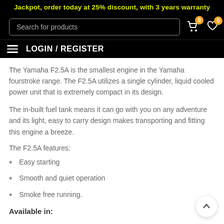Jackpot, order today at 25% discount, with 3 years warranty
The Yamaha F2.5A is the smallest engine in the Yamaha fourstroke range. The F2.5A utilizes a single cylinder, liquid cooled power unit that is extremely compact in its design.
The in-built fuel tank means it can go with you on any adventure and its light, easy to carry design makes transporting and fitting this engine a breeze.
The F2.5A features:
Easy starting
Smooth and quiet operation
Smoke free running.
Available in: